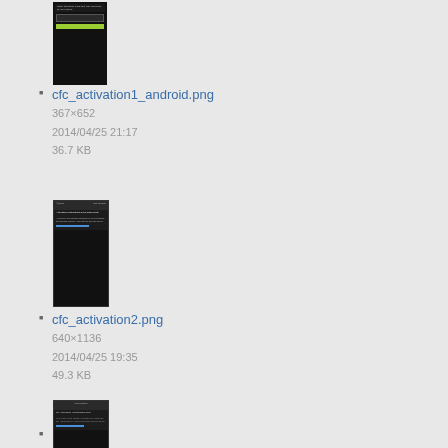[Figure (screenshot): Thumbnail of cfc_activation1_android.png - dark mobile screen with input field and yellow-green button]
cfc_activation1_android.png
367×652
2014/04/25 21:17
36.7 KB
[Figure (screenshot): Thumbnail of cfc_activation2.png - dark mobile screen with activation text and blue link]
cfc_activation2.png
640×1136
2014/04/25 19:35
49.3 KB
[Figure (screenshot): Thumbnail of another activation PNG - dark mobile screen similar to cfc_activation2]